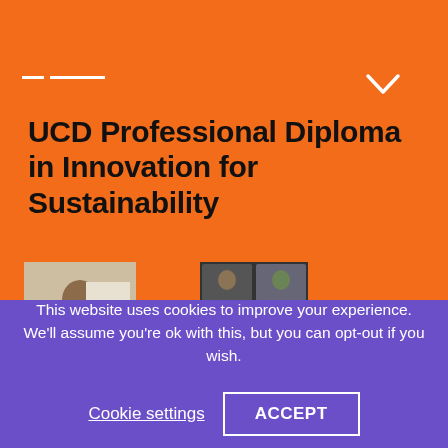[Figure (screenshot): Button with text 'Register your interest' with black border, on orange background at top]
UCD Professional Diploma in Innovation for Sustainability
[Figure (other): Register your interest button with black border on orange background]
[Figure (photo): Two partial photos visible at bottom: person at whiteboard on left, video conference/grid view on right]
This website uses cookies to improve your experience. We'll assume you're ok with this, but you can opt-out if you wish.
Cookie settings
ACCEPT